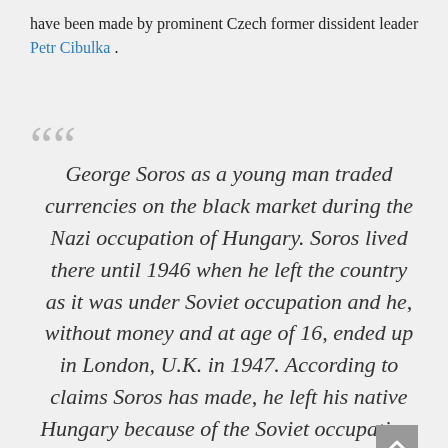have been made by prominent Czech former dissident leader Petr Cibulka .
George Soros as a young man traded currencies on the black market during the Nazi occupation of Hungary. Soros lived there until 1946 when he left the country as it was under Soviet occupation and he, without money and at age of 16, ended up in London, U.K. in 1947. According to claims Soros has made, he left his native Hungary because of the Soviet occupation. Simply said, this must be explained to